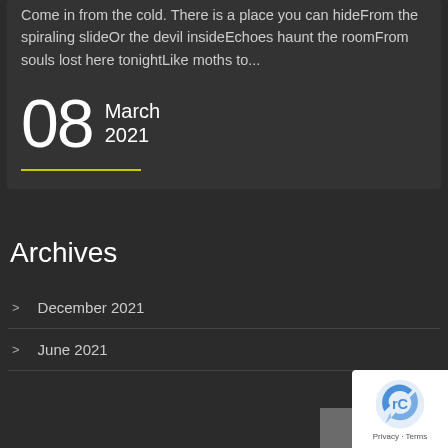Come in from the cold. There is a place you can hideFrom the spiraling slideOr the devil insideEchoes haunt the roomFrom souls lost here tonightLike moths to...
08 March 2021
Archives
December 2021
June 2021